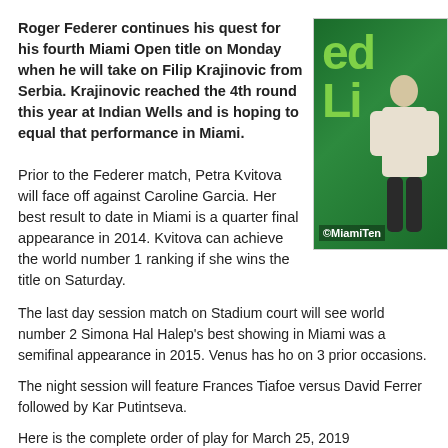Roger Federer continues his quest for his fourth Miami Open title on Monday when he will take on Filip Krajinovic from Serbia. Krajinovic reached the 4th round this year at Indian Wells and is hoping to equal that performance in Miami.
[Figure (photo): Tennis player at Miami Open with FedEx and Lindt branding visible, watermark reading ©MiamiTen]
Prior to the Federer match, Petra Kvitova will face off against Caroline Garcia. Her best result to date in Miami is a quarter final appearance in 2014. Kvitova can achieve the world number 1 ranking if she wins the title on Saturday.
The last day session match on Stadium court will see world number 2 Simona Hal Halep's best showing in Miami was a semifinal appearance in 2015. Venus has ho on 3 prior occasions.
The night session will feature Frances Tiafoe versus David Ferrer followed by Kar Putintseva.
Here is the complete order of play for March 25, 2019
STADIUM start 12:00 noon
WTA – [3] P. Kvitova (CZE) vs [19] C. Garcia (FRA)